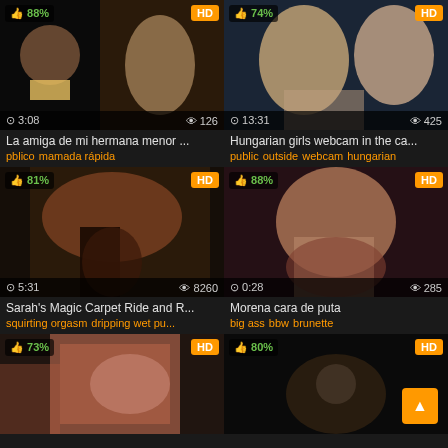[Figure (screenshot): Video thumbnail grid showing adult video website with 6 video thumbnails in a 2-column layout. Each thumbnail shows rating percentage, HD badge, duration, and view count.]
La amiga de mi hermana menor ...
pblico mamada rápida
Hungarian girls webcam in the ca...
public outside webcam hungarian
Sarah's Magic Carpet Ride and R...
squirting orgasm dripping wet pu...
Morena cara de puta
big ass bbw brunette